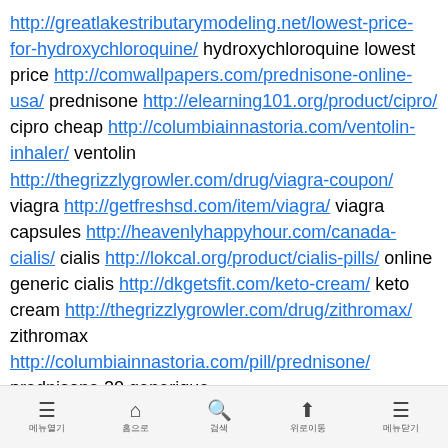http://greatlakestributarymodeling.net/lowest-price-for-hydroxychloroquine/ hydroxychloroquine lowest price http://comwallpapers.com/prednisone-online-usa/ prednisone http://elearning101.org/product/cipro/ cipro cheap http://columbiainnastoria.com/ventolin-inhaler/ ventolin http://thegrizzlygrowler.com/drug/viagra-coupon/ viagra http://getfreshsd.com/item/viagra/ viagra capsules http://heavenlyhappyhour.com/canada-cialis/ cialis http://lokcal.org/product/cialis-pills/ online generic cialis http://dkgetsfit.com/keto-cream/ keto cream http://thegrizzlygrowler.com/drug/zithromax/ zithromax http://columbiainnastoria.com/pill/prednisone/ prednisone 20 generique http://comwallpapers.com/plaquenil/ plaquenil 200 mg en pharmacie http://recipiy.com/non-prescription-hydroxychloroquine/ generic
메뉴열기  홈으로  검색  위로이동  메뉴닫기